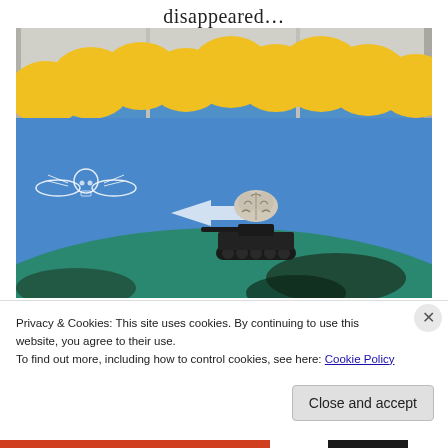disappeared...
[Figure (photo): Street mural showing a tank with a brain on top, rolling across a landscape. Yellow cloud-like shapes on a blue background form the sky. There is a winged skull graffiti icon on the left, and a white arrow pointing right. The lower portion shows a teal/green curved earth surface with dark shadow shapes.]
Privacy & Cookies: This site uses cookies. By continuing to use this website, you agree to their use.
To find out more, including how to control cookies, see here: Cookie Policy
Close and accept